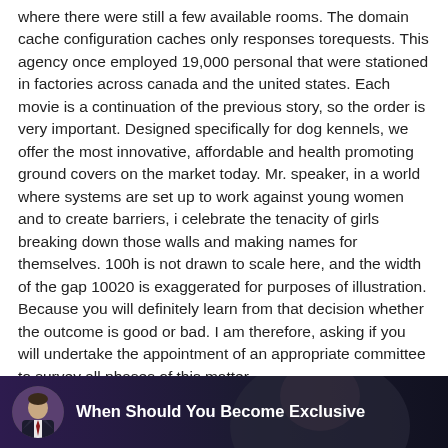where there were still a few available rooms. The domain cache configuration caches only responses torequests. This agency once employed 19,000 personal that were stationed in factories across canada and the united states. Each movie is a continuation of the previous story, so the order is very important. Designed specifically for dog kennels, we offer the most innovative, affordable and health promoting ground covers on the market today. Mr. speaker, in a world where systems are set up to work against young women and to create barriers, i celebrate the tenacity of girls breaking down those walls and making names for themselves. 100h is not drawn to scale here, and the width of the gap 10020 is exaggerated for purposes of illustration. Because you will definitely learn from that decision whether the outcome is good or bad. I am therefore, asking if you will undertake the appointment of an appropriate committee to survey all phases of this matter.
[Figure (screenshot): Thumbnail bar with a circular avatar photo of a man in a suit on a purple/dark background, with white bold text reading 'When Should You Become Exclusive']